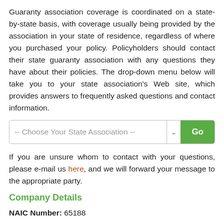Guaranty association coverage is coordinated on a state-by-state basis, with coverage usually being provided by the association in your state of residence, regardless of where you purchased your policy. Policyholders should contact their state guaranty association with any questions they have about their policies. The drop-down menu below will take you to your state association's Web site, which provides answers to frequently asked questions and contact information.
-- Choose Your State Association --  [Go button]
If you are unsure whom to contact with your questions, please e-mail us here, and we will forward your message to the appropriate party.
Company Details
NAIC Number: 65188
An NAIC number is a five-digit number assigned to every insurance company by the NAIC (National Association of Insurance Commissioners). Because each company has